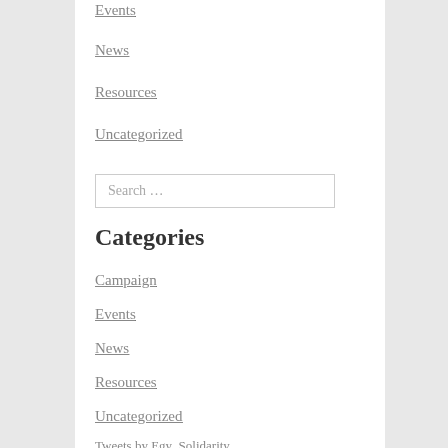Events
News
Resources
Uncategorized
Search …
Categories
Campaign
Events
News
Resources
Uncategorized
Tweets by Egy_Solidarity